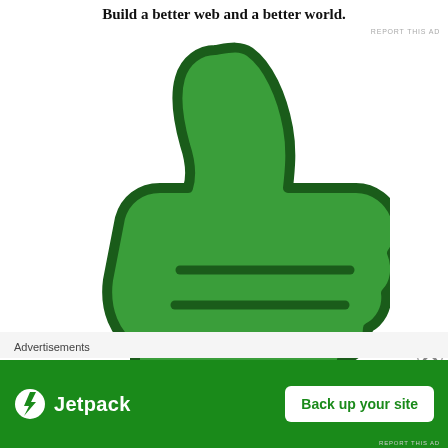Build a better web and a better world.
[Figure (illustration): Large green thumbs-up emoji/icon with dark green outline on white background]
REPORT THIS AD
Advertisements
[Figure (logo): Jetpack advertisement banner with logo and 'Back up your site' button on green background]